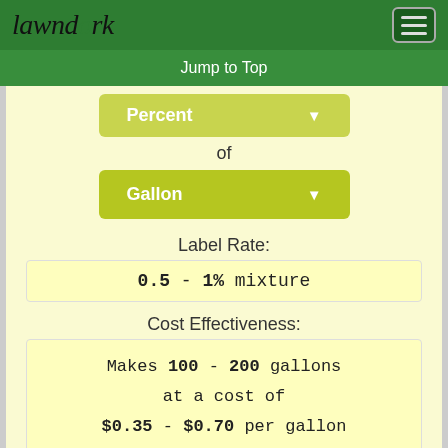lawndork
Jump to Top
Percent
of
Gallon
Label Rate:
0.5 - 1% mixture
Cost Effectiveness:
Makes 100 - 200 gallons at a cost of $0.35 - $0.70 per gallon
Spot Rate Calculator